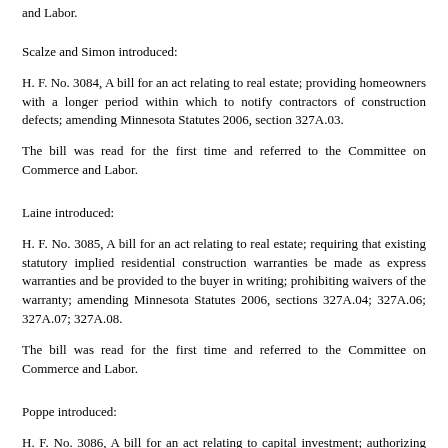and Labor.
Scalze and Simon introduced:
H. F. No. 3084, A bill for an act relating to real estate; providing homeowners with a longer period within which to notify contractors of construction defects; amending Minnesota Statutes 2006, section 327A.03.
The bill was read for the first time and referred to the Committee on Commerce and Labor.
Laine introduced:
H. F. No. 3085, A bill for an act relating to real estate; requiring that existing statutory implied residential construction warranties be made as express warranties and be provided to the buyer in writing; prohibiting waivers of the warranty; amending Minnesota Statutes 2006, sections 327A.04; 327A.06; 327A.07; 327A.08.
The bill was read for the first time and referred to the Committee on Commerce and Labor.
Poppe introduced:
H. F. No. 3086, A bill for an act relating to capital investment; authorizing spending to acquire and better public land and buildings and other improvements